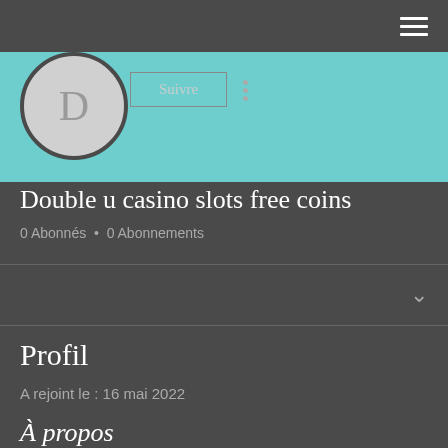☰
[Figure (illustration): Teal/turquoise banner background at top of profile page]
[Figure (illustration): Circular avatar with letter D on dark gray background]
Suivre
Double u casino slots free coins
0 Abonnés  •  0 Abonnements
Profil
A rejoint le : 16 mai 2022
À propos